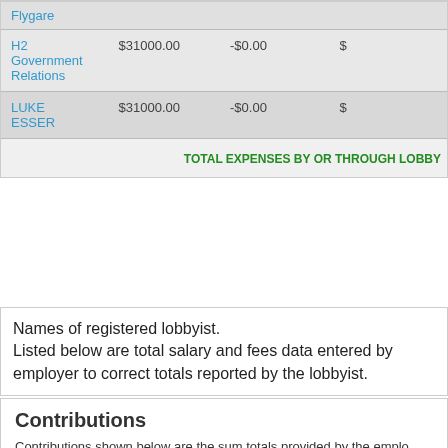| Lobbyist | Amount | Adjustment | Total |
| --- | --- | --- | --- |
| Flygare |  |  |  |
| H2 Government Relations | $31000.00 | -$0.00 | $ |
| LUKE ESSER | $31000.00 | -$0.00 | $ |
| TOTAL EXPENSES BY OR THROUGH LOBBY |  |  |  |
Names of registered lobbyist. Listed below are total salary and fees data entered by employer to correct totals reported by the lobbyist.
Contributions
Contributions shown below are the sum totals provided by the employer block 4 of the report and are entered as filed by the employer. The totals in this section are political contributions to candidates for legislative offices.